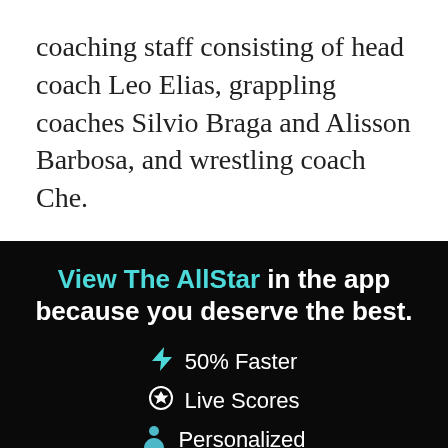coaching staff consisting of head coach Leo Elias, grappling coaches Silvio Braga and Alisson Barbosa, and wrestling coach Che.
View The AllStar in the app because you deserve the best.
⚡ 50% Faster
⚽ Live Scores
👤 Personalized
CONTINUE
or go to the mobile site